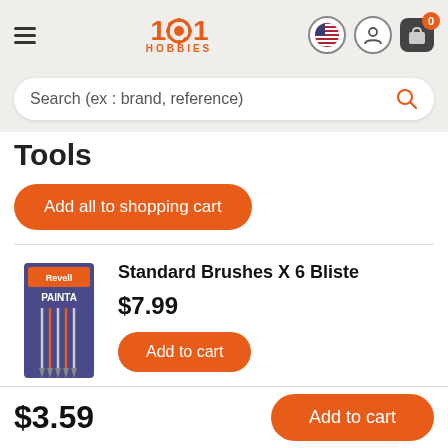[Figure (logo): 1001 Hobbies logo in orange with hamburger menu and icons for language, user, and cart (badge: 0)]
Search (ex : brand, reference)
Tools
Add all to shopping cart
[Figure (photo): Product image: Standard Brushes X 6 Blister pack (Revell Painta brushes in purple packaging)]
Standard Brushes X 6 Bliste
$7.99
Add to cart
$3.59
Add to cart